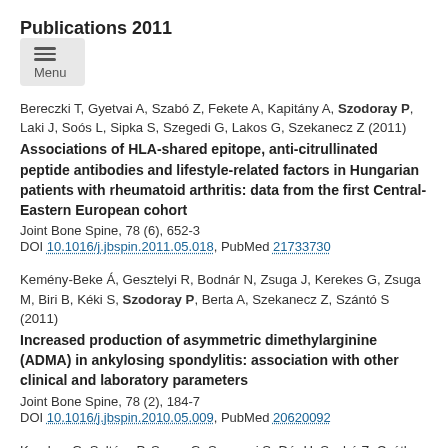Publications 2011
Bereczki T, Gyetvai A, Szabó Z, Fekete A, Kapitány A, Szodoray P, Laki J, Soós L, Sipka S, Szegedi G, Lakos G, Szekanecz Z (2011)
Associations of HLA-shared epitope, anti-citrullinated peptide antibodies and lifestyle-related factors in Hungarian patients with rheumatoid arthritis: data from the first Central-Eastern European cohort
Joint Bone Spine, 78 (6), 652-3
DOI 10.1016/j.jbspin.2011.05.018, PubMed 21733730
Kemény-Beke Á, Gesztelyi R, Bodnár N, Zsuga J, Kerekes G, Zsuga M, Biri B, Kéki S, Szodoray P, Berta A, Szekanecz Z, Szántó S (2011)
Increased production of asymmetric dimethylarginine (ADMA) in ankylosing spondylitis: association with other clinical and laboratory parameters
Joint Bone Spine, 78 (2), 184-7
DOI 10.1016/j.jbspin.2010.05.009, PubMed 20620092
Kerekes G, Soltész P, Szucs G, Szamosi S, Dér H, Szabó Z, Csáthy L, Váncsa A, Szodoray P, Szegedi G, Szekanecz Z (2011)
Effects of adalimumab treatment on vascular disease associated with